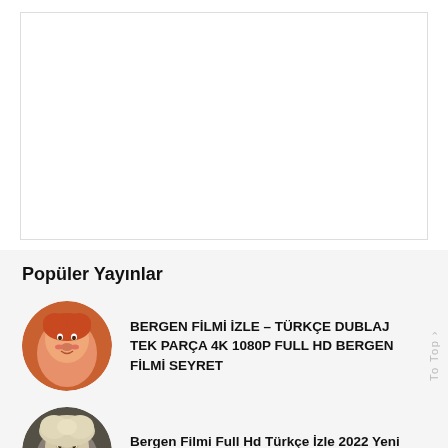[Figure (other): White advertisement/placeholder box with light border]
Popüler Yayınlar
[Figure (photo): Circular thumbnail photo of Bergen (red/orange haired woman)]
BERGEN FİLMİ İZLE – TÜRKÇE DUBLAJ TEK PARÇA 4K 1080P FULL HD BERGEN FİLMİ SEYRET
[Figure (photo): Circular thumbnail photo of Bergen (blonde woman in white outfit)]
Bergen Filmi Full Hd Türkçe İzle 2022 Yeni Tek Parça 720P Full Hd